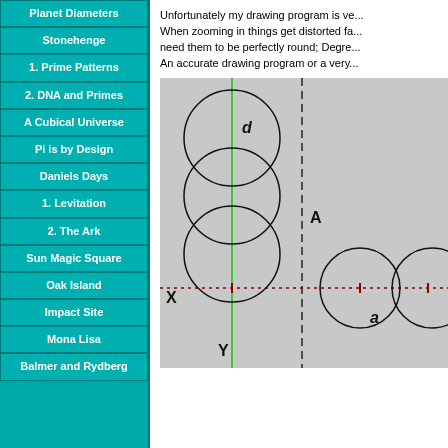Planet Diameters
Stonehenge
1. Prime Patterns
2. DNA and Primes
A Cubical Universe
Pi is by Design
Daniels Days
1. Levitation
2. The Ark
Sun Magic Square
Oak Island
Impact Site
Mona Lisa
Balmer and Rydberg
Unfortunately my drawing program is ve... When zooming in things get distorted fa... need them to be perfectly round; Degre... An accurate drawing program or a very...
[Figure (illustration): Geometric diagram showing stacked and side-by-side circles on a gray background. A vertical green line, a vertical dashed black line, and a horizontal dark red dotted line intersect. Circles are arranged vertically (stacked, tangent) and horizontally. Labels: 'd' near top circle, 'A' at right of dashed line, 'X' at left of horizontal line, 'Y' at bottom near vertical axis, 'a' near bottom right circle.]